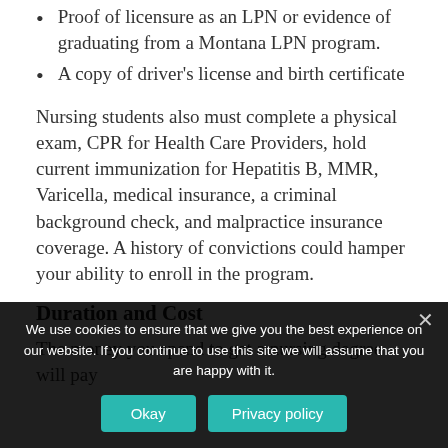Proof of licensure as an LPN or evidence of graduating from a Montana LPN program.
A copy of driver's license and birth certificate
Nursing students also must complete a physical exam, CPR for Health Care Providers, hold current immunization for Hepatitis B, MMR, Varicella, medical insurance, a criminal background check, and malpractice insurance coverage. A history of convictions could hamper your ability to enroll in the program.
Duration and Cost
The money you spend to get a nursing degree will pay
We use cookies to ensure that we give you the best experience on our website. If you continue to use this site we will assume that you are happy with it.